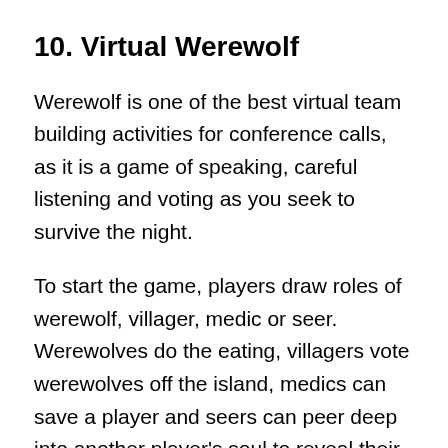10. Virtual Werewolf
Werewolf is one of the best virtual team building activities for conference calls, as it is a game of speaking, careful listening and voting as you seek to survive the night.
To start the game, players draw roles of werewolf, villager, medic or seer. Werewolves do the eating, villagers vote werewolves off the island, medics can save a player and seers can peer deep into another player's soul to reveal their wolf-status.
Then, the game master announces that night